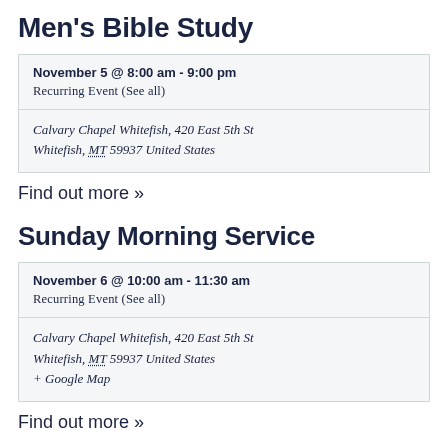Men's Bible Study
November 5 @ 8:00 am - 9:00 pm
Recurring Event (See all)
Calvary Chapel Whitefish, 420 East 5th St Whitefish, MT 59937 United States
Find out more »
Sunday Morning Service
November 6 @ 10:00 am - 11:30 am
Recurring Event (See all)
Calvary Chapel Whitefish, 420 East 5th St Whitefish, MT 59937 United States
+ Google Map
Find out more »